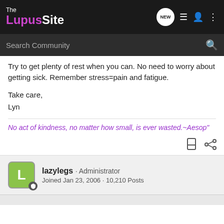[Figure (screenshot): The Lupus Site navigation bar with logo, NEW button, menu icons, user icon, and dots menu]
[Figure (screenshot): Search Community search bar with magnifying glass icon]
Try to get plenty of rest when you can. No need to worry about getting sick. Remember stress=pain and fatigue.
Take care,
Lyn
No act of kindness, no matter how small, is ever wasted.~Aesop"
lazylegs · Administrator
Joined Jan 23, 2006 · 10,210 Posts